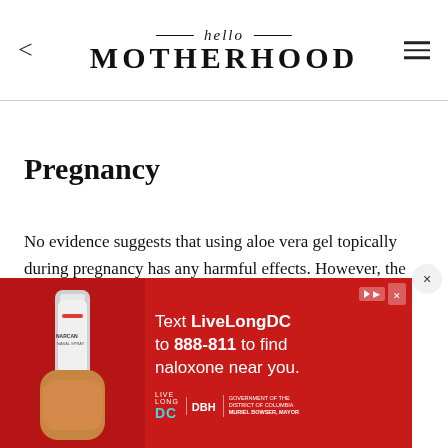hello MOTHERHOOD
Pregnancy
No evidence suggests that using aloe vera gel topically during pregnancy has any harmful effects. However, the American Pregnancy Association does not recommend that it be taken... stretch... itch, and ri... the
[Figure (screenshot): Advertisement banner for LiveLong DC naloxone campaign featuring a nasal spray, text reading 'Text LiveLongDC to 888-811 to find naloxone near you.' on a red background with LiveLong DC, DBH, and DC government logos.]